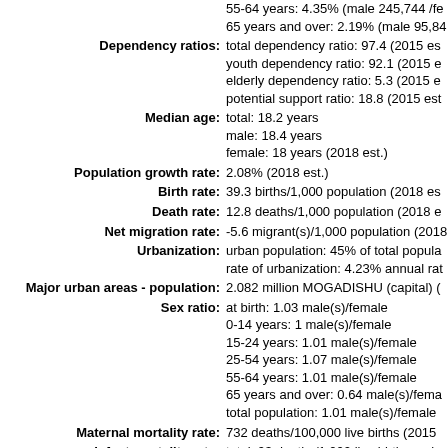55-64 years: 4.35% (male 245,744 /fe
65 years and over: 2.19% (male 95,84
Dependency ratios: total dependency ratio: 97.4 (2015 es
youth dependency ratio: 92.1 (2015 e
elderly dependency ratio: 5.3 (2015 e
potential support ratio: 18.8 (2015 est
Median age: total: 18.2 years
male: 18.4 years
female: 18 years (2018 est.)
Population growth rate: 2.08% (2018 est.)
Birth rate: 39.3 births/1,000 population (2018 es
Death rate: 12.8 deaths/1,000 population (2018 e
Net migration rate: -5.6 migrant(s)/1,000 population (2018
Urbanization: urban population: 45% of total popula
rate of urbanization: 4.23% annual rat
Major urban areas - population: 2.082 million MOGADISHU (capital) (
Sex ratio: at birth: 1.03 male(s)/female
0-14 years: 1 male(s)/female
15-24 years: 1.01 male(s)/female
25-54 years: 1.07 male(s)/female
55-64 years: 1.01 male(s)/female
65 years and over: 0.64 male(s)/fema
total population: 1.01 male(s)/female
Maternal mortality rate: 732 deaths/100,000 live births (2015
Infant mortality rate: total: 93 deaths/1,000 live births male
female: 84.3 deaths/1,000 live births (
Life expectancy at birth: total population: 53.2 years male: 51.